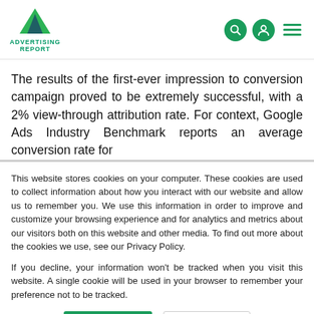ADVERTISING REPORT
The results of the first-ever impression to conversion campaign proved to be extremely successful, with a 2% view-through attribution rate. For context, Google Ads Industry Benchmark reports an average conversion rate for
This website stores cookies on your computer. These cookies are used to collect information about how you interact with our website and allow us to remember you. We use this information in order to improve and customize your browsing experience and for analytics and metrics about our visitors both on this website and other media. To find out more about the cookies we use, see our Privacy Policy.
If you decline, your information won't be tracked when you visit this website. A single cookie will be used in your browser to remember your preference not to be tracked.